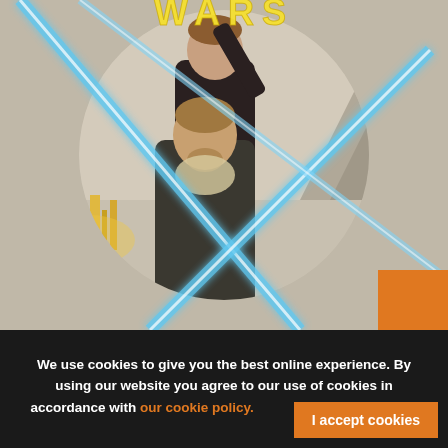[Figure (photo): Star Wars movie poster showing two Jedi characters — one holding a blue lightsaber raised above, one in foreground — with a circular composition, lightsaber beams crossing, and a golden city and mountains in the background. Partial 'WARS' logo visible at top.]
We use cookies to give you the best online experience. By using our website you agree to our use of cookies in accordance with our cookie policy.